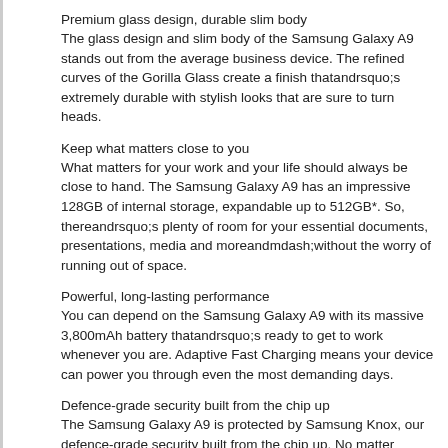Premium glass design, durable slim body
The glass design and slim body of the Samsung Galaxy A9 stands out from the average business device. The refined curves of the Gorilla Glass create a finish thatandrsquo;s extremely durable with stylish looks that are sure to turn heads.
Keep what matters close to you
What matters for your work and your life should always be close to hand. The Samsung Galaxy A9 has an impressive 128GB of internal storage, expandable up to 512GB*. So, thereandrsquo;s plenty of room for your essential documents, presentations, media and moreandmdash;without the worry of running out of space.
Powerful, long-lasting performance
You can depend on the Samsung Galaxy A9 with its massive 3,800mAh battery thatandrsquo;s ready to get to work whenever you are. Adaptive Fast Charging means your device can power you through even the most demanding days.
Defence-grade security built from the chip up
The Samsung Galaxy A9 is protected by Samsung Knox, our defence-grade security built from the chip up. No matter where you and your team go or what you do, you can be sure your businessandrsquo; data stays secure with superior protection